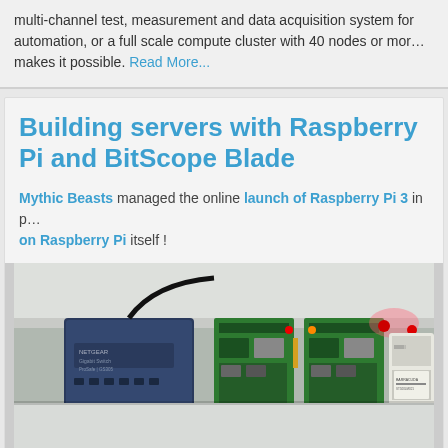multi-channel test, measurement and data acquisition system for automation, or a full scale compute cluster with 40 nodes or more makes it possible. Read More...
Building servers with Raspberry Pi and BitScope Blade
Mythic Beasts managed the online launch of Raspberry Pi 3 in p... on Raspberry Pi itself !
[Figure (photo): Photo of a Netgear Gigabit Switch connected to multiple Raspberry Pi boards mounted on a BitScope Blade, with cables and a hard drive visible, showing a small server cluster setup.]